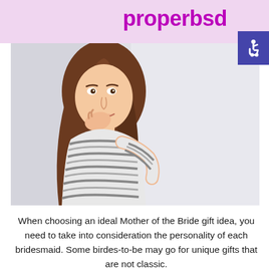properbsd
[Figure (photo): A young woman with long brown hair wearing a striped long-sleeve top, looking back over her shoulder with hand near her mouth, photographed against a light gray background.]
When choosing an ideal Mother of the Bride gift idea, you need to take into consideration the personality of each bridesmaid. Some birdes-to-be may go for unique gifts that are not classic.